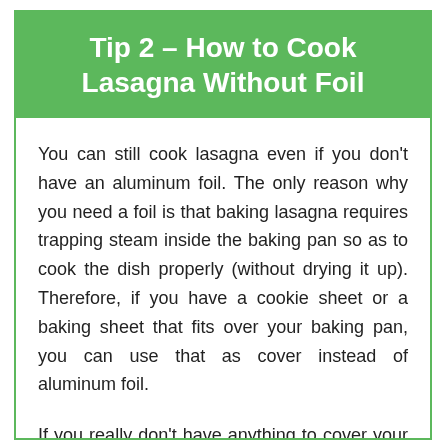Tip 2 – How to Cook Lasagna Without Foil
You can still cook lasagna even if you don't have an aluminum foil. The only reason why you need a foil is that baking lasagna requires trapping steam inside the baking pan so as to cook the dish properly (without drying it up). Therefore, if you have a cookie sheet or a baking sheet that fits over your baking pan, you can use that as cover instead of aluminum foil.
If you really don't have anything to cover your lasagna with, just make your lasagna sauce somewhat runny. This way, your